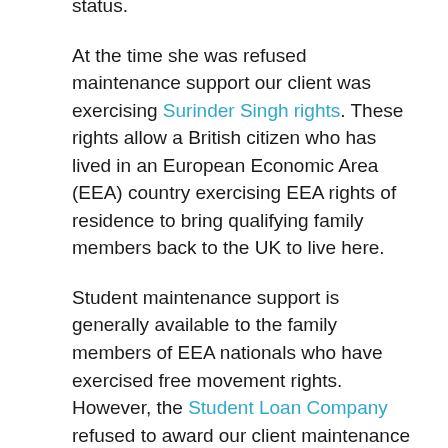status.
At the time she was refused maintenance support our client was exercising Surinder Singh rights. These rights allow a British citizen who has lived in an European Economic Area (EEA) country exercising EEA rights of residence to bring qualifying family members back to the UK to live here.
Student maintenance support is generally available to the family members of EEA nationals who have exercised free movement rights. However, the Student Loan Company refused to award our client maintenance support for her degree because her husband is a British citizen. This happened because the definition of an EEA migrant worker in the relevant regulations excluded EEA nationals who were British citizens.